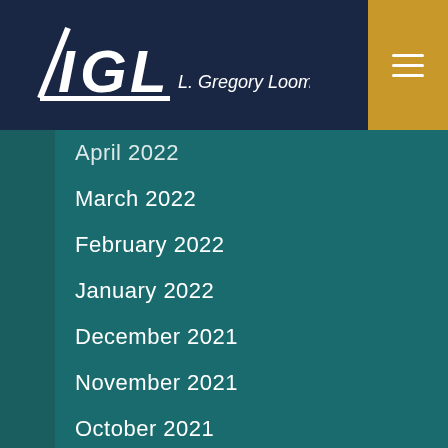LGL L. Gregory Loomar, PA
April 2022
March 2022
February 2022
January 2022
December 2021
November 2021
October 2021
September 2021
August 2021
July 2021
June 2021